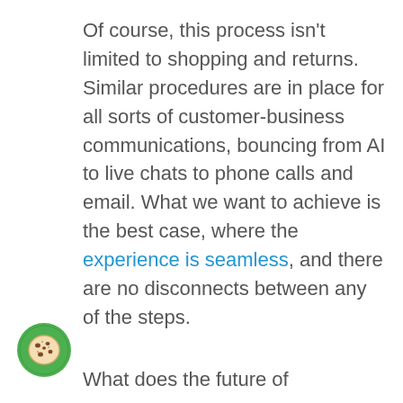Of course, this process isn't limited to shopping and returns. Similar procedures are in place for all sorts of customer-business communications, bouncing from AI to live chats to phone calls and email. What we want to achieve is the best case, where the experience is seamless, and there are no disconnects between any of the steps.
[Figure (illustration): Green circular cookie/biscuit icon with a cookie illustration inside]
What does the future of